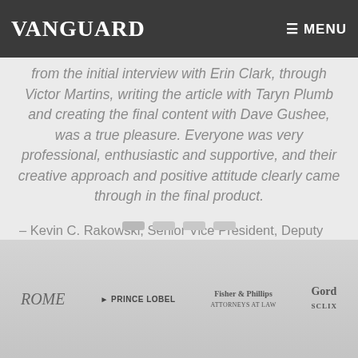VANGUARD  ≡ MENU
from the initial interview with Erin Clark, through Victor Martins, writing the article with Taryn Plumb and creating the final content with Dave Gushee, was a true pleasure. Everyone was very professional, enthusiastic and supportive, and their creative approach and positive attitude clearly came through in the final product.
– Kevin C. Rakowski, Senior Vice President, Deputy General Counsel, Compliance with Radian Group Inc.
[Figure (other): Carousel navigation dots — four rounded rectangle indicators, first one slightly darker indicating active state]
ROME   ▶ PRINCE LOBEL   FISHER & PHILLIPS ATTORNEYS AT LAW   GORD SCLIX